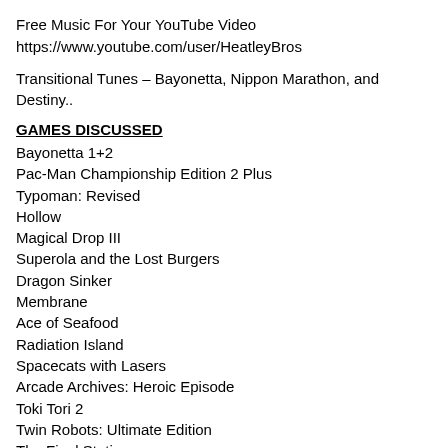Free Music For Your YouTube Video
https://www.youtube.com/user/HeatleyBros
Transitional Tunes – Bayonetta, Nippon Marathon, and Destiny..
GAMES DISCUSSED
Bayonetta 1+2
Pac-Man Championship Edition 2 Plus
Typoman: Revised
Hollow
Magical Drop III
Superola and the Lost Burgers
Dragon Sinker
Membrane
Ace of Seafood
Radiation Island
Spacecats with Lasers
Arcade Archives: Heroic Episode
Toki Tori 2
Twin Robots: Ultimate Edition
The Final Station
Payday 2
Streets of Red: Devil's Dare Deluxe
Bridge Constructor Portal
A Hole New World